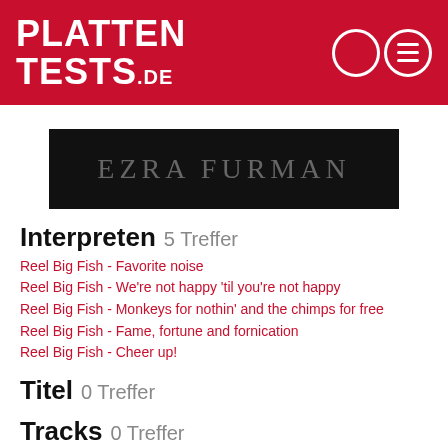PLATTENTESTS.DE
[Figure (logo): Ezra Furman logo — white text on black background]
Interpreten 5 Treffer
Reel Big Fish - Favorite noise
Reel Big Fish - We're not happy 'til you're not happy
Reel Big Fish - Monkeys for nothin' and the chimps for free
Reel Big Fish - Fame, fortune and fornication
Reel Big Fish - Cheer up!
Titel 0 Treffer
Tracks 0 Treffer